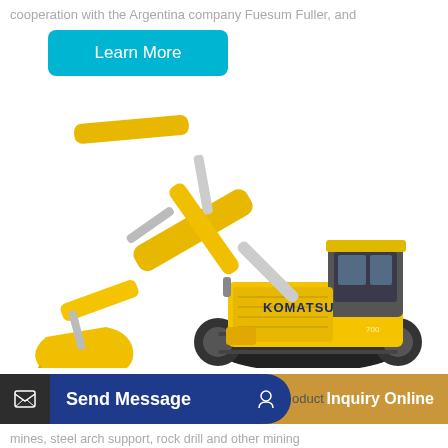cooperation with the Argentina company Fuesum Fuller, and
[Figure (illustration): Learn More button - a rounded teal/cyan rectangle with white text reading 'Learn More']
[Figure (photo): A large yellow Komatsu excavator with an extended arm and bucket, shown on white background. The machine has black tracks, a yellow cab, and the KOMATSU brand name visible on the arm.]
Shandong China Coal Industry & Mining Group
[Figure (infographic): Bottom action bar with two buttons: 'Send Message' on the left (dark blue with dark icon box) and 'Inquiry Online' on the right (gold/amber with blue circular icon). Text 'oduct' visible between them.]
mines, steel arch support, rock drill and other mining